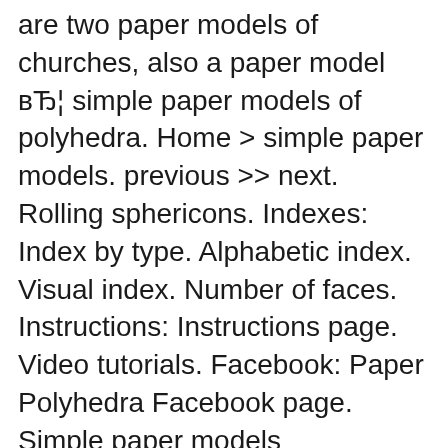are two paper models of churches, also a paper model вЂ¦ simple paper models of polyhedra. Home > simple paper models. previous >> next. Rolling sphericons. Indexes: Index by type. Alphabetic index. Visual index. Number of faces. Instructions: Instructions page. Video tutorials. Facebook: Paper Polyhedra Facebook page. Simple paper models Tetrahedron Cube Cheops Pyramid Truncated Triangular Pyramid Truncated Square Pyramid Oblique Truncated Pyramid
Free HO scale printable Paper buildings & structures for your model train set. Download your favorite free HO scale 3D printable paper model PDF File for